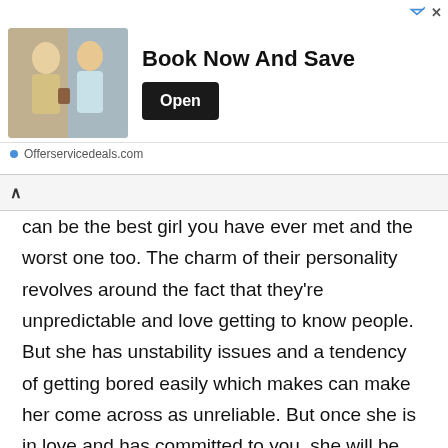[Figure (other): Advertisement banner: photo of two women, 'Book Now And Save' text, 'Open' button, 'Offerservicedeals.com' URL]
can be the best girl you have ever met and the worst one too. The charm of their personality revolves around the fact that they're unpredictable and love getting to know people. But she has unstability issues and a tendency of getting bored easily which makes can make her come across as unreliable. But once she is in love and has committed to you, she will be all yours.
Cancer (June 21 – July 22)